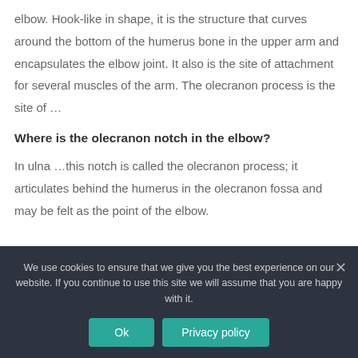elbow. Hook-like in shape, it is the structure that curves around the bottom of the humerus bone in the upper arm and encapsulates the elbow joint. It also is the site of attachment for several muscles of the arm. The olecranon process is the site of …
Where is the olecranon notch in the elbow?
In ulna …this notch is called the olecranon process; it articulates behind the humerus in the olecranon fossa and may be felt as the point of the elbow.
We use cookies to ensure that we give you the best experience on our website. If you continue to use this site we will assume that you are happy with it.